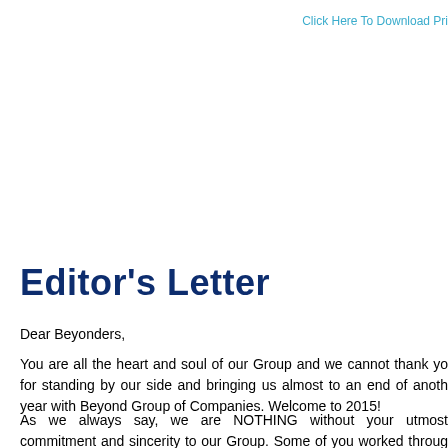Click Here To Download Pri
Editor's Letter
Dear Beyonders,
You are all the heart and soul of our Group and we cannot thank yo for standing by our side and bringing us almost to an end of anoth year with Beyond Group of Companies. Welcome to 2015!
As we always say, we are NOTHING without your utmost commitment and sincerity to our Group. Some of you worked throug self motivating yourself, others by believing and few by vigorous optin